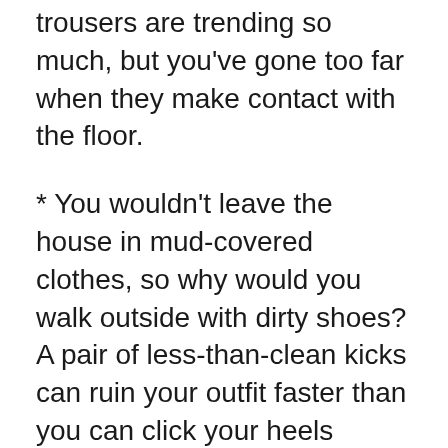trousers are trending so much, but you've gone too far when they make contact with the floor.
* You wouldn't leave the house in mud-covered clothes, so why would you walk outside with dirty shoes? A pair of less-than-clean kicks can ruin your outfit faster than you can click your heels together.
* There are some great boyfriend blazers in the market these days, but you can't literally lift a boyfriend's jacket and expect to look chic. What the designers call a “boyfriend blazer” is actually cut to strike a very feminine figure. No matter how romantic you think it is to snuggle in your boyfriend's clothes, doing so likely gives you a sloppy